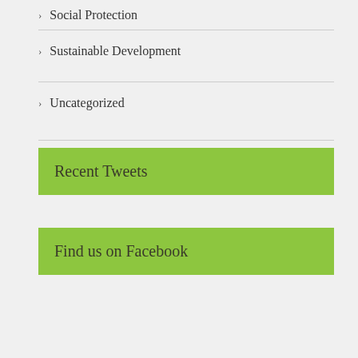> Social Protection
> Sustainable Development
> Uncategorized
Recent Tweets
Find us on Facebook